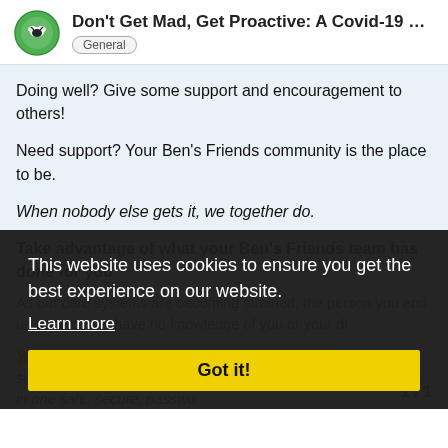Don't Get Mad, Get Proactive: A Covid-19 We... General
Doing well? Give some support and encouragement to others!
Need support? Your Ben's Friends community is the place to be.
When nobody else gets it, we together do.
Take advantage of what your Ben's Friends team has done for you
As our care systems are becoming strained, the person you end up seeing may have no knowledge of you or your di...
Your Ben's Friends Team has partnered with Backpack Health so that you can consolidate your health information and records in one safe, secure, passwo... location.
This website uses cookies to ensure you get the best experience on our website. Learn more Got it!
1 / 1